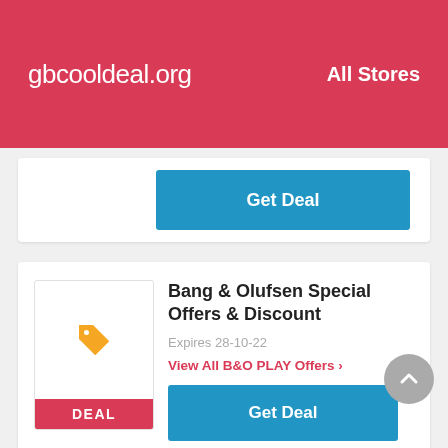gbcooldeal.org   All Stores
[Figure (screenshot): Blue 'Get Deal' button from a previous card visible at top area]
Bang & Olufsen Special Offers & Discount
Expires 28-10-22
View All B&O PLAY Offers >
Get Deal